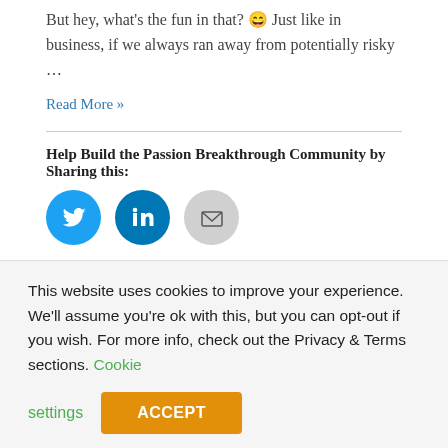But hey, what's the fun in that? 😄 Just like in business, if we always ran away from potentially risky …
Read More »
Help Build the Passion Breakthrough Community by Sharing this:
[Figure (infographic): Three social sharing icon circles: Twitter (blue), LinkedIn (dark blue), Email (gray)]
Like this:
[Figure (infographic): Like button widget with star icon and Like text]
One blogger likes this.
This website uses cookies to improve your experience. We'll assume you're ok with this, but you can opt-out if you wish. For more info, check out the Privacy & Terms sections. Cookie settings ACCEPT